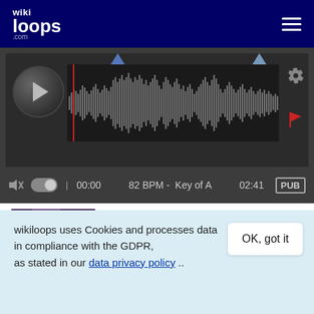wikiloops.com
[Figure (screenshot): Audio player interface with waveform display showing a track at 82 BPM, Key of A, duration 02:41, with play button, volume controls, and PUB label]
[Figure (photo): Photo of a person playing keyboard/synthesizer on stage with purple/pink lighting]
+1
2 years
Cassius
wikiloops uses Cookies and processes data in compliance with the GDPR, as stated in our data privacy policy ..